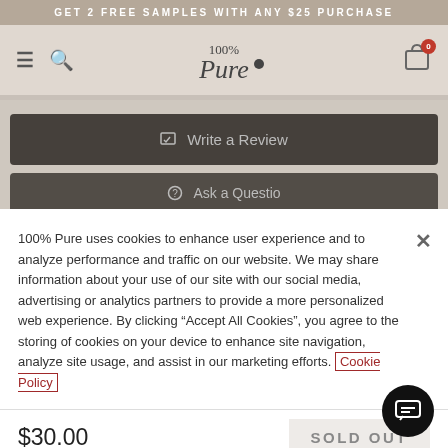GET 2 FREE SAMPLES WITH ANY $25 PURCHASE
[Figure (screenshot): 100% Pure website navigation bar with hamburger menu, search icon, logo in italic script, and shopping cart icon with badge showing 0]
[Figure (screenshot): Write a Review button (dark background)]
[Figure (screenshot): Ask a Question button (dark background, partially visible)]
100% Pure uses cookies to enhance user experience and to analyze performance and traffic on our website. We may share information about your use of our site with our social media, advertising or analytics partners to provide a more personalized web experience. By clicking “Accept All Cookies”, you agree to the storing of cookies on your device to enhance site navigation, analyze site usage, and assist in our marketing efforts. Cookie Policy
$30.00
SOLD OUT